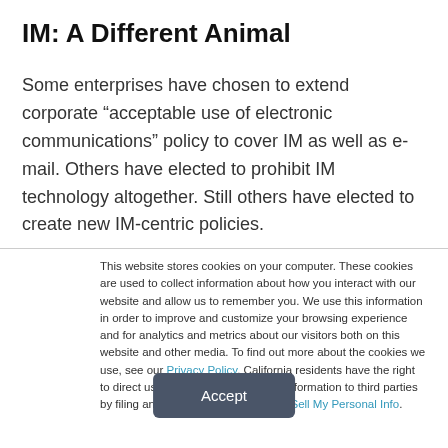IM: A Different Animal
Some enterprises have chosen to extend corporate “acceptable use of electronic communications” policy to cover IM as well as e-mail. Others have elected to prohibit IM technology altogether. Still others have elected to create new IM-centric policies.
This website stores cookies on your computer. These cookies are used to collect information about how you interact with our website and allow us to remember you. We use this information in order to improve and customize your browsing experience and for analytics and metrics about our visitors both on this website and other media. To find out more about the cookies we use, see our Privacy Policy. California residents have the right to direct us not to sell their personal information to third parties by filing an Opt-Out Request: Do Not Sell My Personal Info.